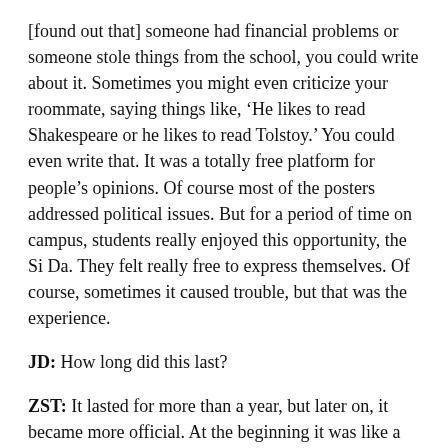[found out that] someone had financial problems or someone stole things from the school, you could write about it. Sometimes you might even criticize your roommate, saying things like, ‘He likes to read Shakespeare or he likes to read Tolstoy.’ You could even write that. It was a totally free platform for people’s opinions. Of course most of the posters addressed political issues. But for a period of time on campus, students really enjoyed this opportunity, the Si Da. They felt really free to express themselves. Of course, sometimes it caused trouble, but that was the experience.
JD: How long did this last?
ZST: It lasted for more than a year, but later on, it became more official. At the beginning it was like a free platform. It was a state of anarchy. You could do anything. You could even draw a cartoon of someone you didn’t like. You could put a drawing there and write some